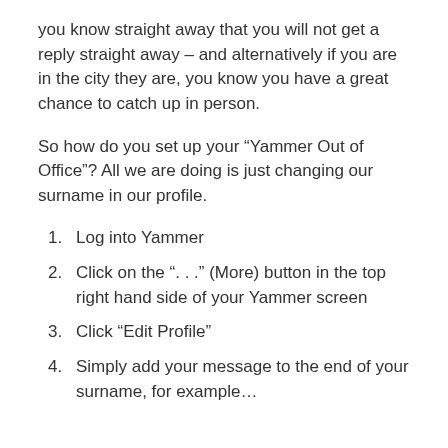you know straight away that you will not get a reply straight away – and alternatively if you are in the city they are, you know you have a great chance to catch up in person.
So how do you set up your “Yammer Out of Office”? All we are doing is just changing our surname in our profile.
1. Log into Yammer
2. Click on the “. . .” (More) button in the top right hand side of your Yammer screen
3. Click “Edit Profile”
4. Simply add your message to the end of your surname, for example…